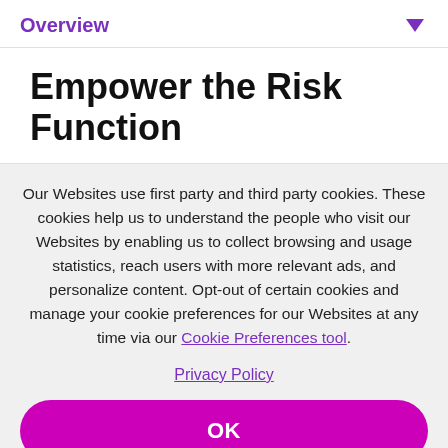Overview
Empower the Risk Function
Our Websites use first party and third party cookies. These cookies help us to understand the people who visit our Websites by enabling us to collect browsing and usage statistics, reach users with more relevant ads, and personalize content. Opt-out of certain cookies and manage your cookie preferences for our Websites at any time via our Cookie Preferences tool.
Privacy Policy
OK